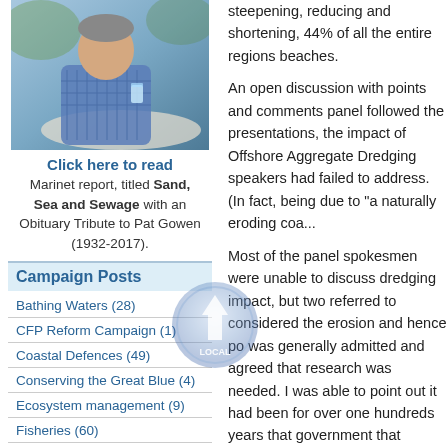[Figure (photo): Photo of a person in a blue checked shirt holding a glass, seated outdoors at a table.]
Click here to read
Marinet report, titled Sand, Sea and Sewage with an Obituary Tribute to Pat Gowen (1932-2017).
Campaign Posts
Bathing Waters (28)
CFP Reform Campaign (1)
Coastal Defences (49)
Conserving the Great Blue (4)
Ecosystem management (9)
Fisheries (60)
steepening, reducing and shortening, 44% of all the entire regions beaches.
An open discussion with points and comments panel followed the presentations, the impact of Offshore Aggregate Dredging speakers had failed to address. (In fact, being due to "a naturally eroding coa...
Most of the panel spokesmen were unable to discuss dredging impact, but two referred to considered the erosion and hence po was generally admitted and agreed that research was needed. I was able to point out it had been for over one hundreds years that government that Offshore Dredging should themselves familiar with our MARINE Sandpit Report, whilst other questions made by the American Corps of Engineers.
After the session on the impact of dredging, on to the ethical and social consideration prior poor handling of this. No commitment, although this was hinted at.